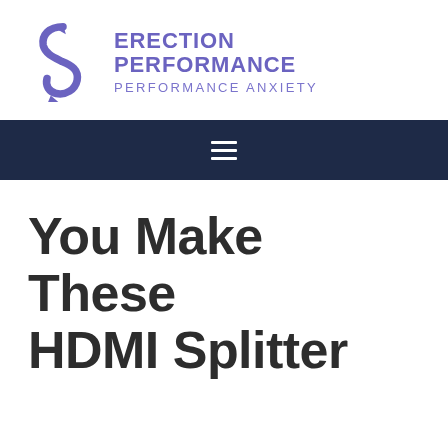[Figure (logo): Erection Performance Performance Anxiety website logo with stylized S-shaped figure in purple and bold purple text]
[Figure (other): Dark navy navigation bar with hamburger menu icon (three horizontal lines) centered]
You Make These HDMI Splitter